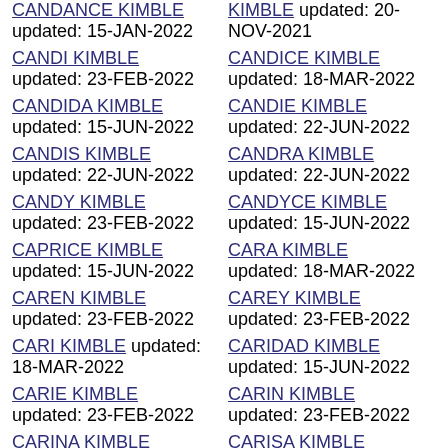CANDANCE KIMBLE updated: 15-JAN-2022
KIMBLE updated: 20-NOV-2021
CANDI KIMBLE updated: 23-FEB-2022
CANDICE KIMBLE updated: 18-MAR-2022
CANDIDA KIMBLE updated: 15-JUN-2022
CANDIE KIMBLE updated: 22-JUN-2022
CANDIS KIMBLE updated: 22-JUN-2022
CANDRA KIMBLE updated: 22-JUN-2022
CANDY KIMBLE updated: 23-FEB-2022
CANDYCE KIMBLE updated: 15-JUN-2022
CAPRICE KIMBLE updated: 15-JUN-2022
CARA KIMBLE updated: 18-MAR-2022
CAREN KIMBLE updated: 23-FEB-2022
CAREY KIMBLE updated: 23-FEB-2022
CARI KIMBLE updated: 18-MAR-2022
CARIDAD KIMBLE updated: 15-JUN-2022
CARIE KIMBLE updated: 23-FEB-2022
CARIN KIMBLE updated: 23-FEB-2022
CARINA KIMBLE updated: 22-JUN-2022
CARISA KIMBLE updated: 22-JUN-2022